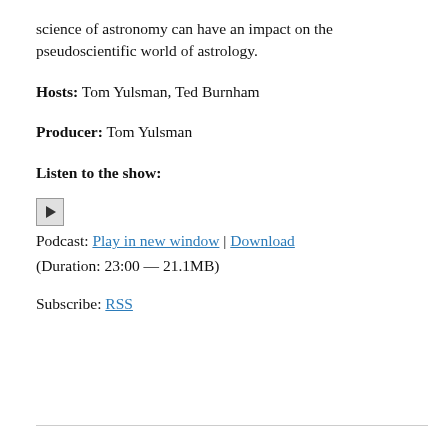science of astronomy can have an impact on the pseudoscientific world of astrology.
Hosts: Tom Yulsman, Ted Burnham
Producer: Tom Yulsman
Listen to the show:
[Figure (other): Play button icon for audio podcast player]
Podcast: Play in new window | Download
(Duration: 23:00 — 21.1MB)
Subscribe: RSS